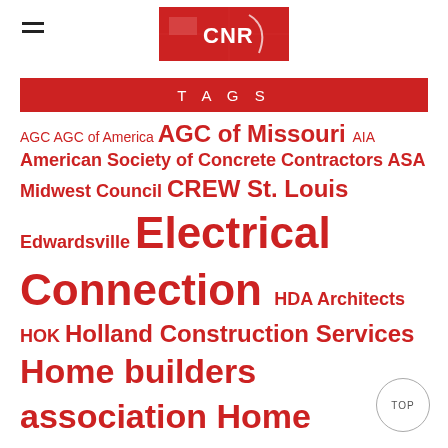CNR logo and navigation
TAGS
AGC  AGC of America  AGC of Missouri  AIA  American Society of Concrete Contractors  ASA Midwest Council  CREW St. Louis  Edwardsville  Electrical Connection  HDA Architects  HOK  Holland Construction Services  Home builders association  Home Builders Association Donates $15  IFMA St. Louis  IL IMPACT Strategies Inc.  Integrated Facility Services  IWR North America  Kadean  Kadean Construction  KAI  KAI Design & Build  Knoebel Construction  KWK